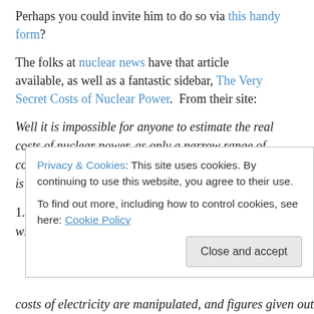Perhaps you could invite him to do so via this handy form?
The folks at nuclear news have that article available, as well as a fantastic sidebar, The Very Secret Costs of Nuclear Power.  From their site:
Well it is impossible for anyone to estimate the real costs of nuclear power, as only a narrow range of costs are discussed, even where the nuclear industry is supposedly privately owned.
1. The nuclear weapons industry is so connected with
Privacy & Cookies: This site uses cookies. By continuing to use this website, you agree to their use.
To find out more, including how to control cookies, see here: Cookie Policy
costs of electricity are manipulated, and figures given out